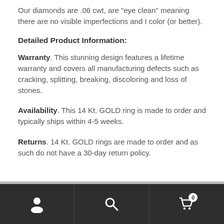Our diamonds are .06 cwt, are "eye clean" meaning there are no visible imperfections and I color (or better).
Detailed Product Information:
Warranty. This stunning design features a lifetime warranty and covers all manufacturing defects such as cracking, splitting, breaking, discoloring and loss of stones.
Availability. This 14 Kt. GOLD ring is made to order and typically ships within 4-5 weeks.
Returns. 14 Kt. GOLD rings are made to order and as such do not have a 30-day return policy.